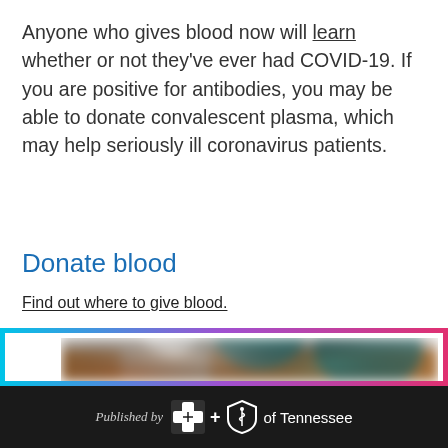Anyone who gives blood now will learn whether or not they've ever had COVID-19. If you are positive for antibodies, you may be able to donate convalescent plasma, which may help seriously ill coronavirus patients.
Donate blood
Find out where to give blood.
[Figure (photo): Blurred photo of items on a table including a white pot and teal/blue decorative objects, partially visible]
Published by BlueCross BlueShield of Tennessee